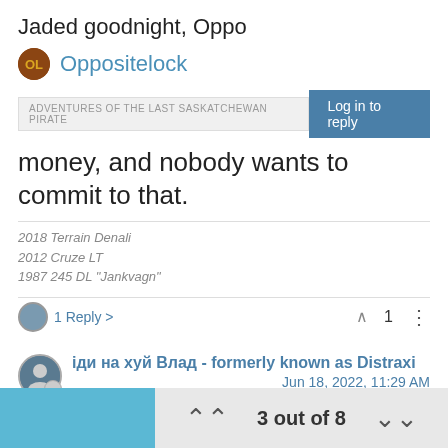Jaded goodnight, Oppo
Oppositelock
ADVENTURES OF THE LAST SASKATCHEWAN PIRATE
Log in to reply
money, and nobody wants to commit to that.
2018 Terrain Denali
2012 Cruze LT
1987 245 DL "Jankvagn"
1 Reply >
1
іди на хуй Влад - formerly known as Distraxi
Jun 18, 2022, 11:29 AM
3 out of 8